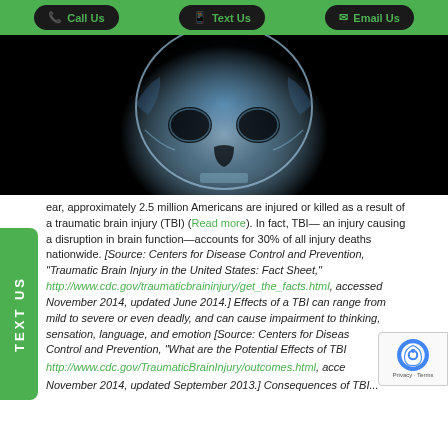Call Us | Text Us | Email Us
[Figure (photo): X-ray image of a human skull with a red/orange highlighted area at the top of the head, against a black background, suggesting traumatic brain injury.]
...year, approximately 2.5 million Americans are injured or killed as a result of a traumatic brain injury (TBI) (Read more). In fact, TBI— an injury causing a disruption in brain function—accounts for 30% of all injury deaths nationwide. [Source: Centers for Disease Control and Prevention, "Traumatic Brain Injury in the United States: Fact Sheet," http://www.cdc.gov/traumaticbraininjury/get_the_facts.html, accessed November 2014, updated June 2014.] Effects of a TBI can range from mild to severe or even deadly, and can cause impairment to thinking, sensation, language, and emotion [Source: Centers for Disease Control and Prevention, "What are the Potential Effects of TBI" http://www.cdc.gov/TraumaticBrainInjury/outcomes.html, accessed November 2014, updated September 2013.] Consequences of TBI...